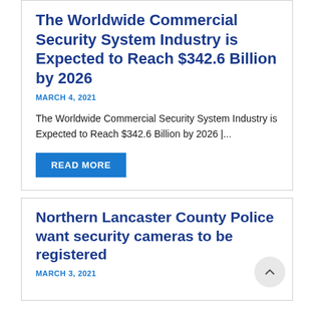The Worldwide Commercial Security System Industry is Expected to Reach $342.6 Billion by 2026
MARCH 4, 2021
The Worldwide Commercial Security System Industry is Expected to Reach $342.6 Billion by 2026 |...
READ MORE
Northern Lancaster County Police want security cameras to be registered
MARCH 3, 2021